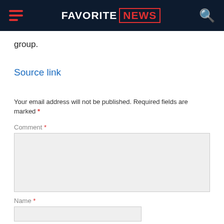FAVORITE NEWS
group.
Source link
Your email address will not be published. Required fields are marked *
Comment *
Name *
Email *